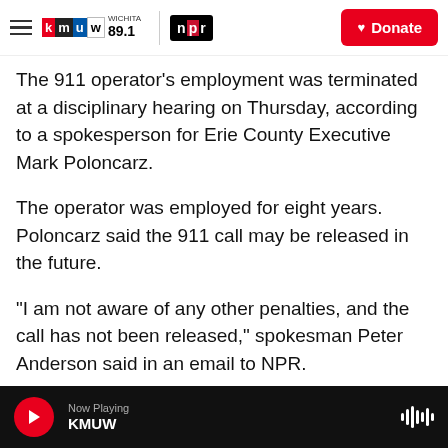KMUW Wichita 89.1 | NPR | Donate
The 911 operator's employment was terminated at a disciplinary hearing on Thursday, according to a spokesperson for Erie County Executive Mark Poloncarz.
The operator was employed for eight years. Poloncarz said the 911 call may be released in the future.
"I am not aware of any other penalties, and the call has not been released," spokesman Peter Anderson said in an email to NPR.
At a news conference ahead of the disciplinary
Now Playing KMUW